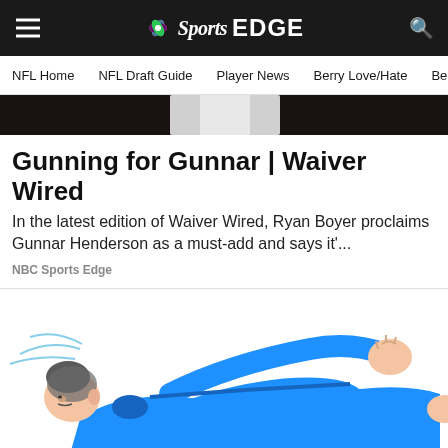NBC Sports EDGE
NFL Home | NFL Draft Guide | Player News | Berry Love/Hate | Ber
[Figure (photo): Partial photo of a baseball/sports player uniform, cropped at top of page]
Gunning for Gunnar | Waiver Wired
In the latest edition of Waiver Wired, Ryan Boyer proclaims Gunnar Henderson as a must-add and says it'...
NBC Sports Edge
[Figure (illustration): Cartoon illustration of a football player in a blue uniform falling or being knocked down, with motion lines indicating impact]